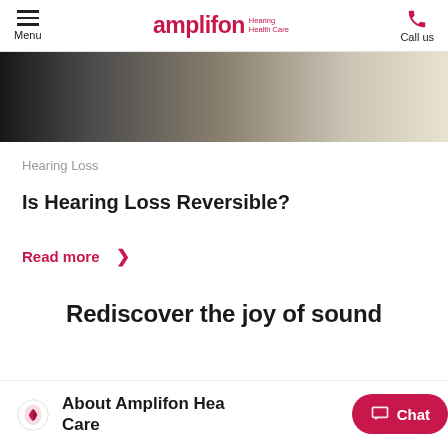Menu | amplifon Hearing Health Care | Call us
[Figure (photo): Partial view of a person with dark hair near a light-colored surface, blurred background]
Hearing Loss
Is Hearing Loss Reversible?
Read more >
Rediscover the joy of sound
About Amplifon Hearing Health Care
Chat